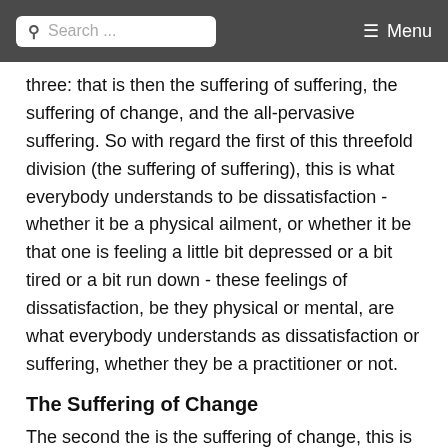Search ... Menu
three: that is then the suffering of suffering, the suffering of change, and the all-pervasive suffering. So with regard the first of this threefold division (the suffering of suffering), this is what everybody understands to be dissatisfaction - whether it be a physical ailment, or whether it be that one is feeling a little bit depressed or a bit tired or a bit run down - these feelings of dissatisfaction, be they physical or mental, are what everybody understands as dissatisfaction or suffering, whether they be a practitioner or not.
The Suffering of Change
The second the is the suffering of change, this is